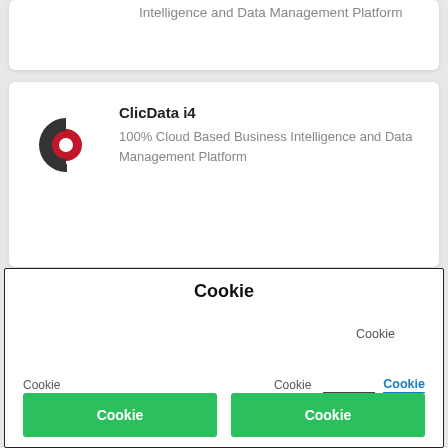Intelligence and Data Management Platform
[Figure (logo): ClicData logo: stylized C and D shape in dark gray and red]
ClicData i4
100% Cloud Based Business Intelligence and Data Management Platform
Cookie
Cookie
Cookie
Cookie
Cookie
Cookie
Cookie